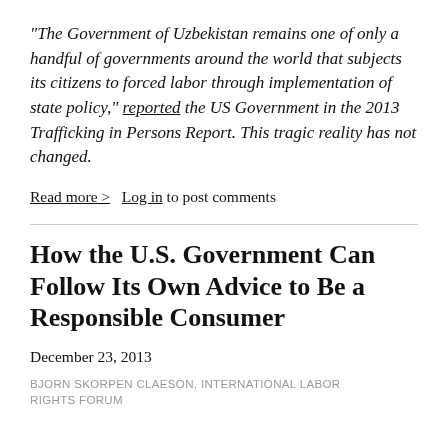“The Government of Uzbekistan remains one of only a handful of governments around the world that subjects its citizens to forced labor through implementation of state policy,” reported the US Government in the 2013 Trafficking in Persons Report. This tragic reality has not changed.
Read more >  Log in to post comments
How the U.S. Government Can Follow Its Own Advice to Be a Responsible Consumer
December 23, 2013
BJORN SKORPEN CLAESON, INTERNATIONAL LABOR RIGHTS FORUM